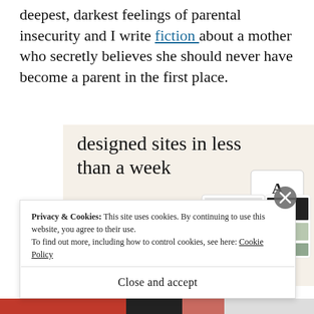deepest, darkest feelings of parental insecurity and I write fiction about a mother who secretly believes she should never have become a parent in the first place.
[Figure (screenshot): Advertisement showing 'designed sites in less than a week' with an Explore options green button and mockup screenshots of website designs on a beige background.]
Privacy & Cookies: This site uses cookies. By continuing to use this website, you agree to their use. To find out more, including how to control cookies, see here: Cookie Policy
Close and accept